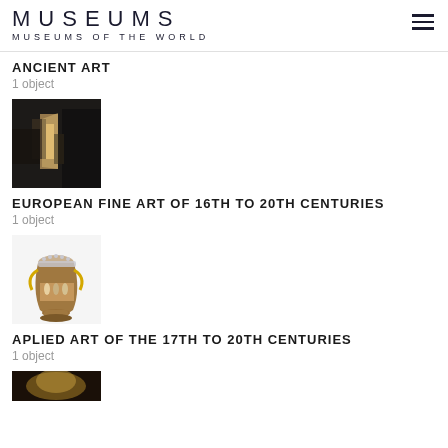MUSEUMS
MUSEUMS OF THE WORLD
ANCIENT ART
1 object
[Figure (photo): Dark interior painting showing figures in a room with light coming from a doorway]
EUROPEAN FINE ART OF 16TH TO 20TH CENTURIES
1 object
[Figure (photo): Decorative ceramic vase with painted figures and ornate golden handles on white background]
APLIED ART OF THE 17TH TO 20TH CENTURIES
1 object
[Figure (photo): Partially visible image at bottom of page, dark tones]